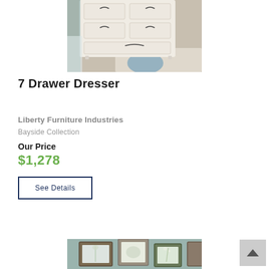[Figure (photo): Top portion of a white 7-drawer dresser with dark hardware handles, shown in a bedroom setting with hardwood floor and rug visible]
7 Drawer Dresser
Liberty Furniture Industries
Bayside Collection
Our Price
$1,278
See Details
[Figure (photo): Bottom portion of a second product image showing framed wall art and decorative items in a teal/gray room]